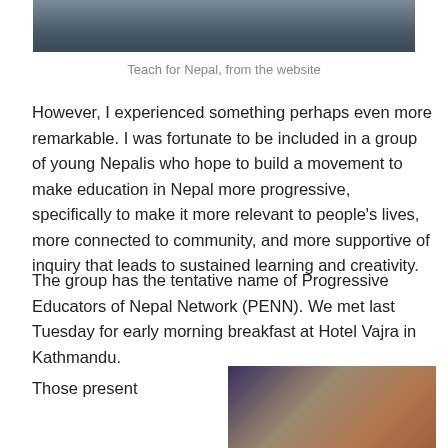[Figure (photo): Top portion of a photo showing people at a table, partially cropped]
Teach for Nepal, from the website
However, I experienced something perhaps even more remarkable. I was fortunate to be included in a group of young Nepalis who hope to build a movement to make education in Nepal more progressive, specifically to make it more relevant to people's lives, more connected to community, and more supportive of inquiry that leads to sustained learning and creativity.
The group has the tentative name of Progressive Educators of Nepal Network (PENN). We met last Tuesday for early morning breakfast at Hotel Vajra in Kathmandu.
Those present
[Figure (photo): Photo of people gathered at a restaurant or hotel, brick wall visible in background]